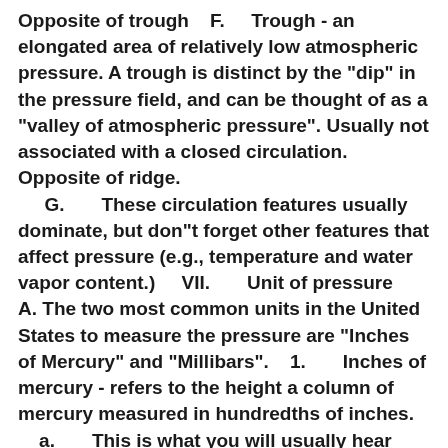Opposite of trough    F.      Trough - an elongated area of relatively low atmospheric pressure. A trough is distinct by the "dip" in the pressure field, and can be thought of as a "valley of atmospheric pressure". Usually not associated with a closed circulation. Opposite of ridge.     G.       These circulation features usually dominate, but don"t forget other features that affect pressure (e.g., temperature and water vapor content.)    VII.      Unit of pressure    A.   The two most common units in the United States to measure the pressure are "Inches of Mercury" and "Millibars".    1.      Inches of mercury - refers to the height a column of mercury measured in hundredths of inches.    a.       This is what you will usually hear from the NOAA usmam.org Radio of from your favorite usmam.org or news source. At sea level, standard air pressure in inches of mercury is